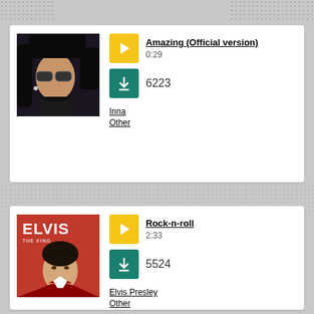[Figure (screenshot): Music track listing card 1: Inna - Amazing (Official version), duration 0:29, 6223 downloads, genre Other]
[Figure (screenshot): Music track listing card 2: Elvis Presley - Rock-n-roll, duration 2:33, 5524 downloads, genre Other]